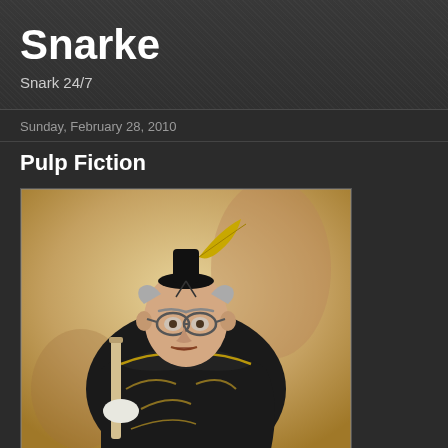Snarke
Snark 24/7
Sunday, February 28, 2010
Pulp Fiction
[Figure (photo): A photomontage of a politician's face superimposed on a Japanese historical painting of a figure dressed in black samurai-style robes with gold trim, sitting in a formal pose with a small black hat and what appears to be a sword or staff, against a beige/gold background.]